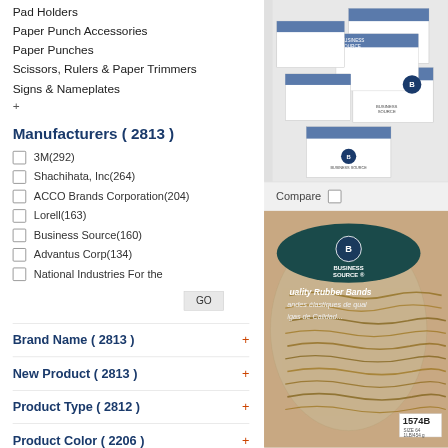Pad Holders
Paper Punch Accessories
Paper Punches
Scissors, Rulers & Paper Trimmers
Signs & Nameplates
+
Manufacturers ( 2813 )
3M(292)
Shachihata, Inc(264)
ACCO Brands Corporation(204)
Lorell(163)
Business Source(160)
Advantus Corp(134)
National Industries For the
GO
Brand Name ( 2813 )
New Product ( 2813 )
Product Type ( 2812 )
Product Color ( 2206 )
Recycled ( 1685 )
[Figure (photo): Stack of white product boxes with blue branding (Business Source)]
Compare
[Figure (photo): Clear plastic bag of natural rubber bands with Business Source branding and label reading 'Quality Rubber Bands / Bandes elastiques de qual... / Ligas de Calidad...' Price tag showing 1574B]